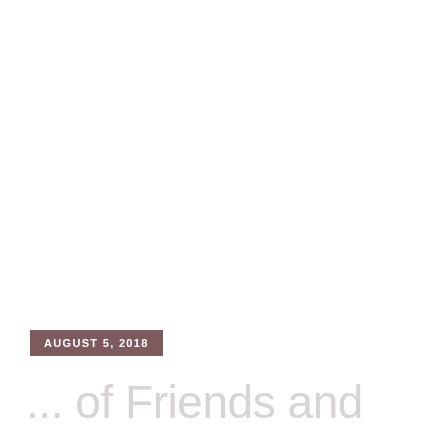AUGUST 5, 2018
... of Friends and